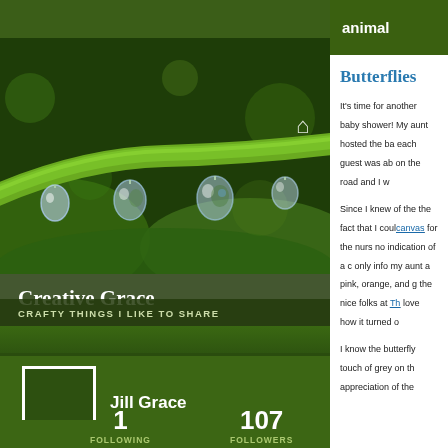[Figure (photo): Close-up macro photograph of water droplets on a green grass blade or plant stem, with dark green background]
Creative Grace
CRAFTY THINGS I LIKE TO SHARE
Jill Grace
1
FOLLOWING
107
FOLLOWERS
animal
Butterflies
It's time for another baby shower! My aunt hosted the baby shower and each guest was able to bring a gift on the road and I w
Since I knew of the theme, despite the fact that I could canvas for the nurs no indication of a c only info my aunt a pink, orange, and g the nice folks at Th love how it turned o
I know the butterfly touch of grey on th appreciation of the